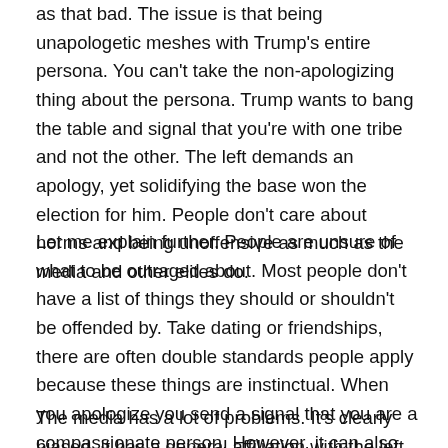as that bad. The issue is that being unapologetic meshes with Trump's entire persona. You can't take the non-apologizing thing about the persona. Trump wants to bang the table and signal that you're with one tribe and not the other. The left demands an apology, yet solidifying the base won the election for him. People don't care about norms and being unoffensive as much as the media and other elites do.
Let me explain further. People are unsure of what to be outraged about. Most people don't have a list of things they should or shouldn't be offended by. Take dating or friendships, there are often double standards people apply because these things are instinctual. When you apologize you send a signal that you are a compassionate person. However, it can also come from a place of weakness.
The media has a lot of problems. It's clearly biased, it has a general affiliation with the left. Things they want to hold